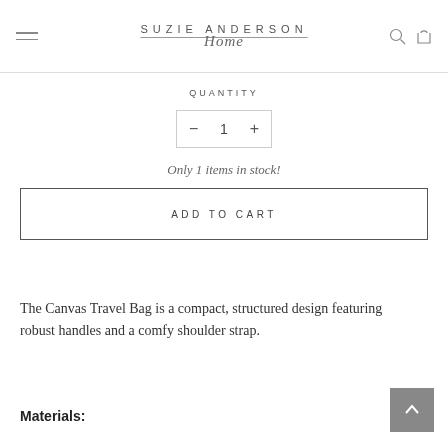SUZIE ANDERSON Home
QUANTITY
Only 1 items in stock!
ADD TO CART
The Canvas Travel Bag is a compact, structured design featuring robust handles and a comfy shoulder strap.
Materials: